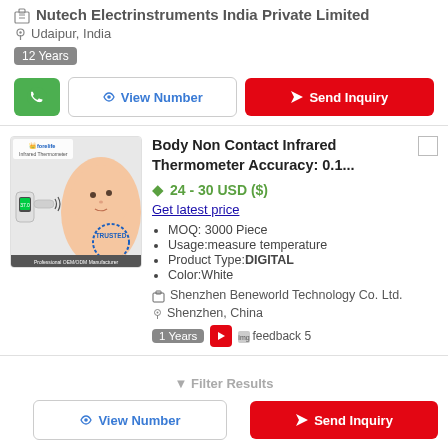Nutech Electrinstruments India Private Limited
Udaipur, India
12 Years
View Number
Send Inquiry
Body Non Contact Infrared Thermometer Accuracy: 0.1...
24 - 30 USD ($)
Get latest price
MOQ: 3000 Piece
Usage:measure temperature
Product Type:DIGITAL
Color:White
Shenzhen Beneworld Technology Co. Ltd.
Shenzhen, China
1 Years
feedback 5
Filter Results
View Number
Send Inquiry